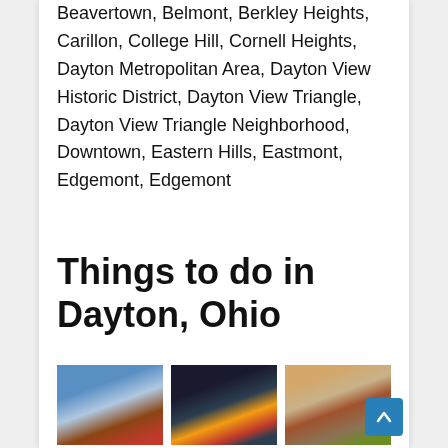Beavertown, Belmont, Berkley Heights, Carillon, College Hill, Cornell Heights, Dayton Metropolitan Area, Dayton View Historic District, Dayton View Triangle, Dayton View Triangle Neighborhood, Downtown, Eastern Hills, Eastmont, Edgemont, Edgemont
Things to do in Dayton, Ohio
[Figure (photo): Photo of 2nd Street Market building exterior with signage]
2nd Street Market
[Figure (photo): Photo of America's Packard Museum interior with vintage cars]
America's Packard
[Figure (photo): Photo of Aullwood Audubon Center, showing a bird or nature scene]
Aullwood Audubon